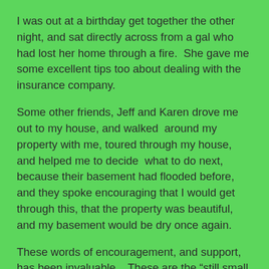I was out at a birthday get together the other night, and sat directly across from a gal who had lost her home through a fire.  She gave me some excellent tips too about dealing with the insurance company.
Some other friends, Jeff and Karen drove me out to my house, and walked  around my property with me, toured through my house, and helped me to decide  what to do next, because their basement had flooded before, and they spoke encouraging that I would get through this, that the property was beautiful, and my basement would be dry once again.
These words of encouragement, and support, has been invaluable .  These are the “still small voices,” that have been sent especially to guide me.  Out of this crazy situation in my home has come blessings that I could not